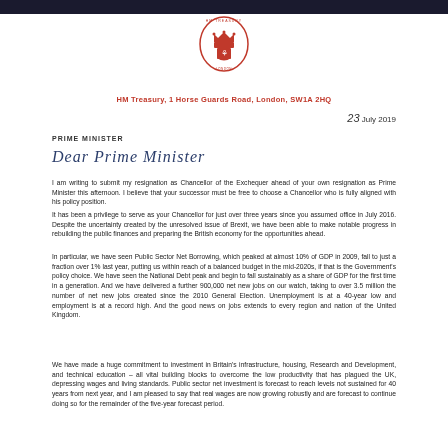[Figure (logo): HM Treasury royal crest/seal in red, circular emblem with crown]
HM Treasury, 1 Horse Guards Road, London, SW1A 2HQ
23 July 2019
PRIME MINISTER
Dear Prime Minister
I am writing to submit my resignation as Chancellor of the Exchequer ahead of your own resignation as Prime Minister this afternoon. I believe that your successor must be free to choose a Chancellor who is fully aligned with his policy position.
It has been a privilege to serve as your Chancellor for just over three years since you assumed office in July 2016. Despite the uncertainty created by the unresolved issue of Brexit, we have been able to make notable progress in rebuilding the public finances and preparing the British economy for the opportunities ahead.
In particular, we have seen Public Sector Net Borrowing, which peaked at almost 10% of GDP in 2009, fall to just a fraction over 1% last year, putting us within reach of a balanced budget in the mid-2020s, if that is the Government's policy choice. We have seen the National Debt peak and begin to fall sustainably as a share of GDP for the first time in a generation. And we have delivered a further 900,000 net new jobs on our watch, taking to over 3.5 million the number of net new jobs created since the 2010 General Election. Unemployment is at a 40-year low and employment is at a record high. And the good news on jobs extends to every region and nation of the United Kingdom.
We have made a huge commitment to investment in Britain's infrastructure, housing, Research and Development, and technical education – all vital building blocks to overcome the low productivity that has plagued the UK, depressing wages and living standards. Public sector net investment is forecast to reach levels not sustained for 40 years from next year, and I am pleased to say that real wages are now growing robustly and are forecast to continue doing so for the remainder of the five-year forecast period.